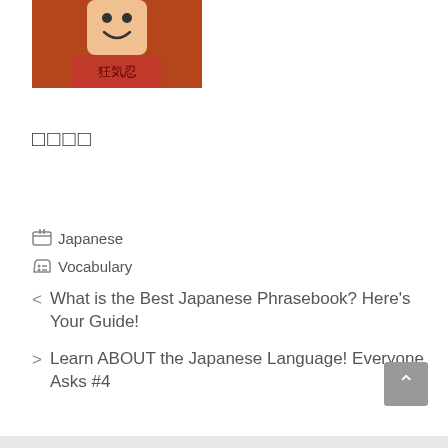[Figure (photo): A person wearing a red t-shirt with Japanese kanji characters, smiling]
□□□□
Japanese
Vocabulary
< What is the Best Japanese Phrasebook? Here's Your Guide!
> Learn ABOUT the Japanese Language! Everyone Asks #4